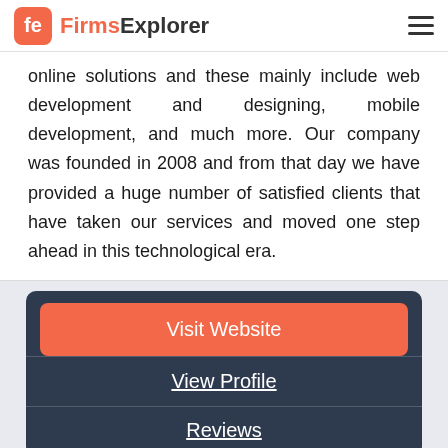FirmsExplorer
online solutions and these mainly include web development and designing, mobile development, and much more. Our company was founded in 2008 and from that day we have provided a huge number of satisfied clients that have taken our services and moved one step ahead in this technological era.
Visit Website
View Profile
Reviews
[Figure (logo): Circular logo with letter H in center, dark brown and orange tones]